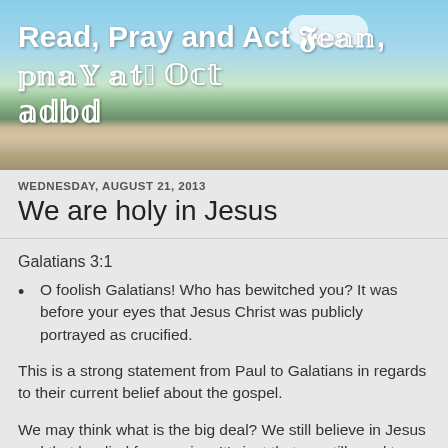[Figure (photo): Blog header image showing a road receding into the distance with blue sky, white clouds, and green trees on the sides]
Read, Pray and Act 𝕽𝖊𝖆𝖉, 𝕻𝖗𝖆𝖞 𝖆𝖓𝖉 𝕬𝖈𝖙
WEDNESDAY, AUGUST 21, 2013
We are holy in Jesus
Galatians 3:1
O foolish Galatians! Who has bewitched you? It was before your eyes that Jesus Christ was publicly portrayed as crucified.
This is a strong statement from Paul to Galatians in regards to their current belief about the gospel.
We may think what is the big deal? We still believe in Jesus and that he died for our sins. It's just that we still need to